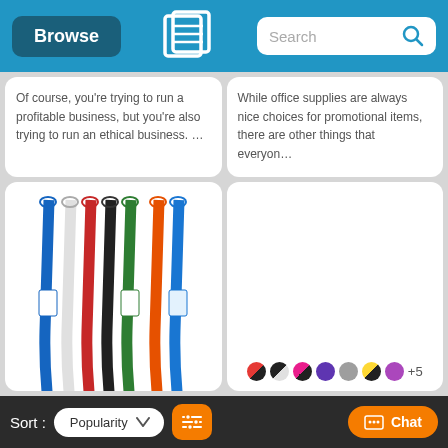Browse | [Logo] | Search
Of course, you're trying to run a profitable business, but you're also trying to run an ethical business. …
While office supplies are always nice choices for promotional items, there are other things that everyon…
[Figure (photo): Seven colorful lanyards in blue, white, red, black, green, white/polka-dot, gold/orange, and blue with attached badge holders, fanned out vertically]
[Figure (photo): Empty white card area with color swatches: black/red, black/white, pink/black, dark purple, gray, yellow/black, purple, +5 more]
Sort: Popularity ▼ | [Filter icon] | Chat